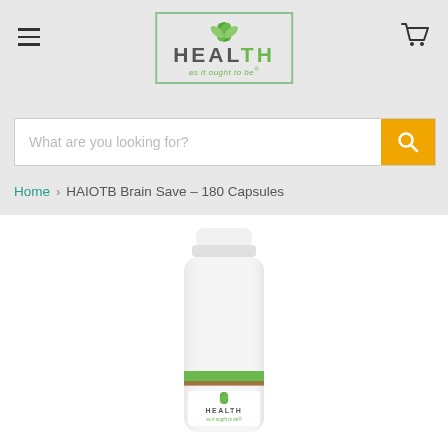[Figure (logo): Health As It Ought To Be logo with green leaf icon and bordered box]
What are you looking for?
Home > HAIOTB Brain Save - 180 Capsules
[Figure (photo): White supplement bottle with Health As It Ought To Be branding and green stripe label]